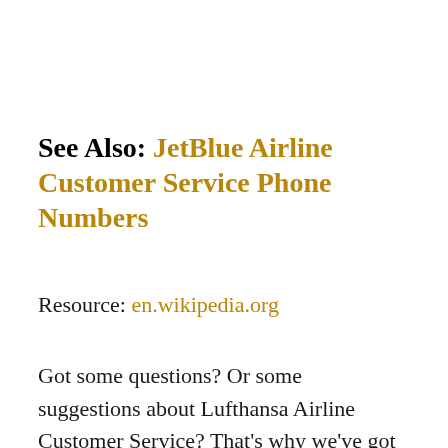See Also: JetBlue Airline Customer Service Phone Numbers
Resource: en.wikipedia.org
Got some questions? Or some suggestions about Lufthansa Airline Customer Service? That's why we've got a comments section on this blog! You can feel free to leave a